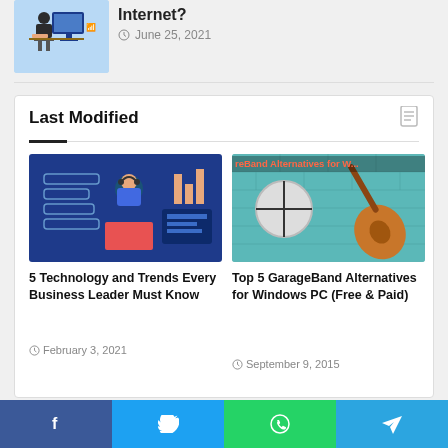[Figure (illustration): Person working at a computer desk, illustration on light blue background]
Internet?
June 25, 2021
Last Modified
[Figure (illustration): Woman with headset working on laptop, dark blue background with chat bubbles and charts]
5 Technology and Trends Every Business Leader Must Know
February 3, 2021
[Figure (illustration): GarageBand logo and guitar on teal brick wall background with text GarageBand Alternatives for W...]
Top 5 GarageBand Alternatives for Windows PC (Free & Paid)
September 9, 2015